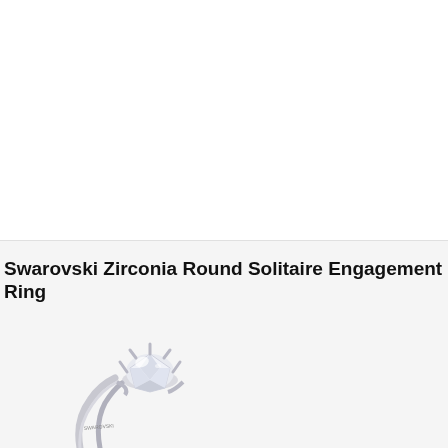Swarovski Zirconia Round Solitaire Engagement Ring
[Figure (photo): Partial view of a silver solitaire engagement ring with a round Swarovski zirconia stone set in a claw setting, shown from slightly above against a light gray background.]